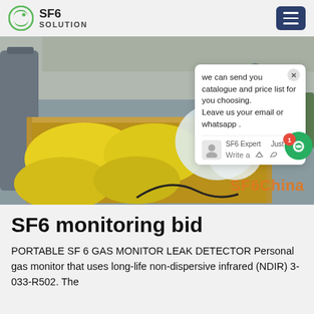SF6 SOLUTION
[Figure (photo): Industrial setting with yellow insulation material in a wooden crate, a worker in background with large industrial equipment, and a chat popup overlay showing 'we can send you catalogue and price list for you choosing. Leave us your email or whatsapp.']
SF6 monitoring bid
PORTABLE SF 6 GAS MONITOR LEAK DETECTOR Personal gas monitor that uses long-life non-dispersive infrared (NDIR) 3-033-R502. The